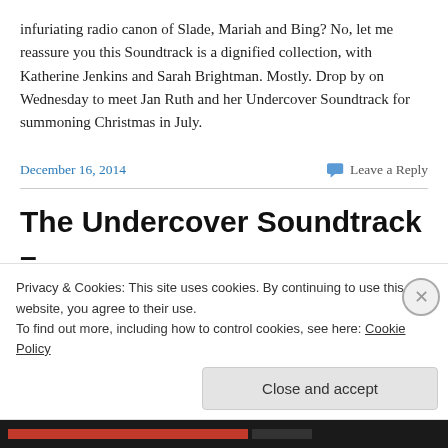infuriating radio canon of Slade, Mariah and Bing? No, let me reassure you this Soundtrack is a dignified collection, with Katherine Jenkins and Sarah Brightman. Mostly. Drop by on Wednesday to meet Jan Ruth and her Undercover Soundtrack for summoning Christmas in July.
December 16, 2014
Leave a Reply
The Undercover Soundtrack –
Jan Ruth
Privacy & Cookies: This site uses cookies. By continuing to use this website, you agree to their use.
To find out more, including how to control cookies, see here: Cookie Policy
Close and accept